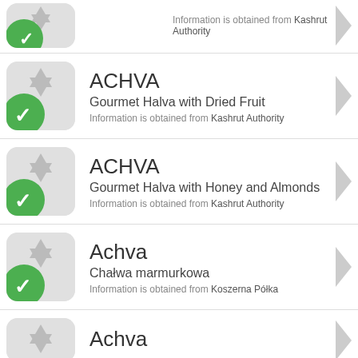ACHVA - Gourmet Halva with Dried Fruit - Information is obtained from Kashrut Authority
ACHVA - Gourmet Halva with Honey and Almonds - Information is obtained from Kashrut Authority
Achva - Chałwa marmurkowa - Information is obtained from Koszerna Półka
Achva